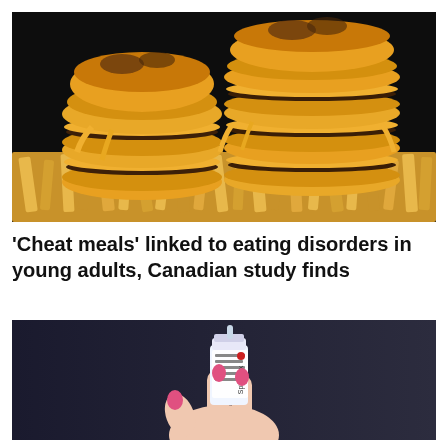[Figure (photo): Stack of cheeseburgers with melted cheese on golden buns piled high on a bed of french fries, photographed on a dark black background.]
'Cheat meals' linked to eating disorders in young adults, Canadian study finds
[Figure (photo): A hand with red painted fingernails holding a small medicine vial labeled 'Spikevax', against a dark background.]